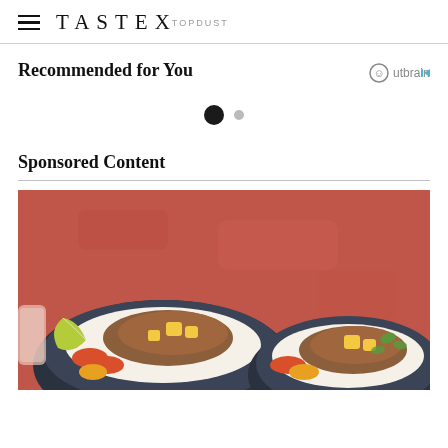TASTEX TOPDUST
Recommended for You
[Figure (other): Outbrain recommendation widget with two navigation dots]
Sponsored Content
[Figure (photo): Two dark bowls filled with rice, pulled pork, pineapple chunks, red peppers, and garnished with lime and cilantro, on a red/orange textured background]